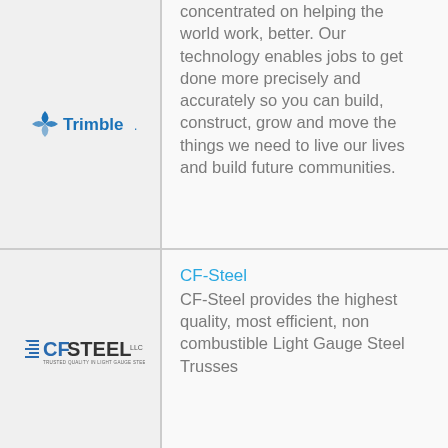[Figure (logo): Trimble company logo with blue diamond/globe icon and 'Trimble' wordmark in blue]
concentrated on helping the world work, better. Our technology enables jobs to get done more precisely and accurately so you can build, construct, grow and move the things we need to live our lives and build future communities.
[Figure (logo): CF-Steel company logo with blue steel beam icon and 'CFSTEEL' text]
CF-Steel
CF-Steel provides the highest quality, most efficient, non combustible Light Gauge Steel Trusses